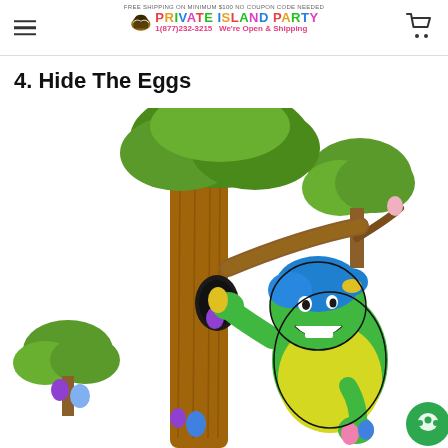FREE SHIPPING ON MINIMUM $100 NO COUPON CODE NEEDED | PRIVATE ISLAND PARTY | 1(877)232-3215 We're Open & Shipping
4. Hide The Eggs
[Figure (illustration): Cartoon illustration of a green alien/creature character with blue hair, wearing a yellow outfit, placing colorful Easter eggs in and around a large brown tree with a hollow. The tree has green leafy foliage. A small bush with purple and blue eggs is at the lower left. A second smaller tree is visible at the upper right.]